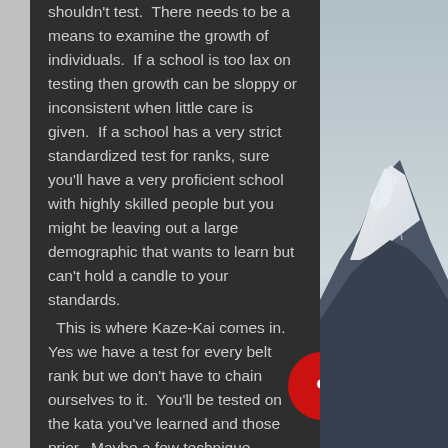shouldn't test. There needs to be a means to examine the growth of individuals. If a school is too lax on testing then growth can be sloppy or inconsistent when little care is given. If a school has a very strict standardized test for ranks, sure you'll have a very proficient school with highly skilled people but you might be leaving out a large demographic that wants to learn but can't hold a candle to your standards.
  This is where Kaze-Kai comes in. Yes we have a test for every belt rank but we don't have to chain ourselves to it. You'll be tested on the kata you've learned and those prior. Maybe a few techniques Japanese words spoken in class. find you're an intelligent or athletic
[Figure (photo): Snow-capped mountain (likely Mount Fuji) against a grey sky, viewed from a distance, on the right side of the page.]